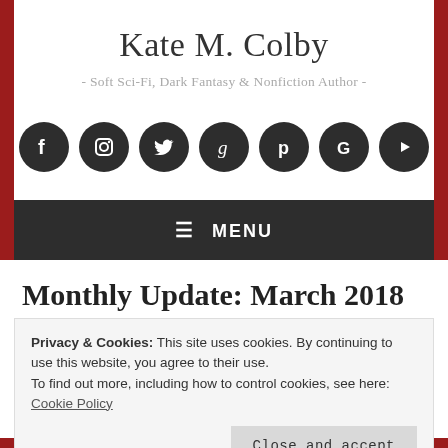Kate M. Colby
- Soft Sci-Fi, Dark Fantasy & Nonfiction Author -
[Figure (other): Row of 7 social media icons (Facebook, Instagram, Twitter, Goodreads, Pinterest, Google, YouTube) as dark circular buttons]
≡ MENU
Monthly Update: March 2018
April 4, 2018
Privacy & Cookies: This site uses cookies. By continuing to use this website, you agree to their use.
To find out more, including how to control cookies, see here: Cookie Policy
Close and accept
Between a trip home to visit family and friends in Kansas